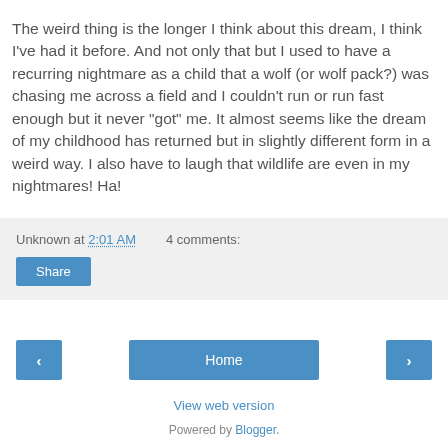The weird thing is the longer I think about this dream, I think I've had it before. And not only that but I used to have a recurring nightmare as a child that a wolf (or wolf pack?) was chasing me across a field and I couldn't run or run fast enough but it never "got" me. It almost seems like the dream of my childhood has returned but in slightly different form in a weird way. I also have to laugh that wildlife are even in my nightmares! Ha!
Unknown at 2:01 AM   4 comments:
Share
‹
Home
›
View web version
Powered by Blogger.